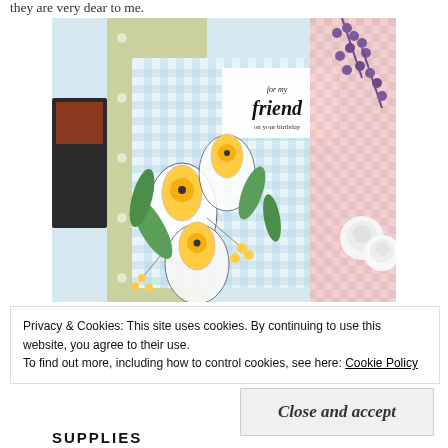they are very dear to me.
[Figure (photo): A handmade birthday card featuring white daffodil flowers with yellow centers and green leaves on a blue gingham background. The card reads 'for my friend on your birthday' in calligraphy. Surrounding the card are purple berry stems, white roses, and patterned papers in pink and green.]
Privacy & Cookies: This site uses cookies. By continuing to use this website, you agree to their use.
To find out more, including how to control cookies, see here: Cookie Policy
Close and accept
SUPPLIES